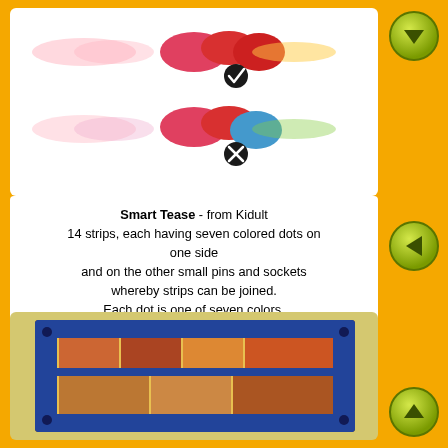[Figure (photo): Two rows of colored oval/yo-yo shapes: top row has a checkmark (correct), bottom row has an X (incorrect)]
Smart Tease - from Kidult
14 strips, each having seven colored dots on one side
and on the other small pins and sockets whereby strips can be joined.
Each dot is one of seven colors.
Form a 7x7 mat by joining strips back-to-back cross-wise, such that
where two strips cross the dots on both sides are the same color.
[Figure (photo): Photo of the Smart Tease puzzle box/frame with colorful illustrated tiles inside a blue metal frame holder]